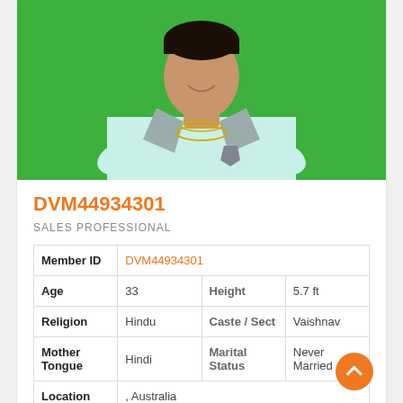[Figure (photo): Portrait photo of a young man smiling, wearing a light blue/mint collared shirt with gold chains around neck, against a green background]
DVM44934301
SALES PROFESSIONAL
| Member ID | DVM44934301 |  |  |
| Age | 33 | Height | 5.7 ft |
| Religion | Hindu | Caste / Sect | Vaishnav |
| Mother Tongue | Hindi | Marital Status | Never Married |
| Location | , Australia |  |  |